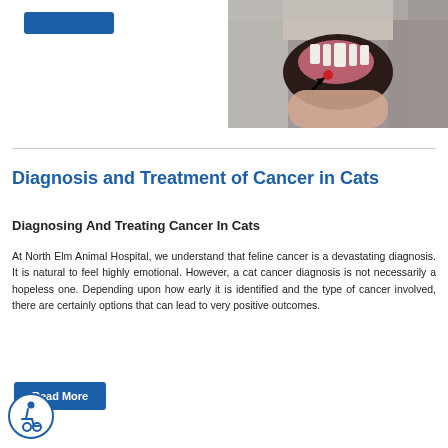[Figure (photo): Close-up photo of a cat's mouth showing teeth and gums with a black arrow pointing to a lesion or abnormal area near the gum line. A human hand is visible examining the cat's mouth.]
Diagnosis and Treatment of Cancer in Cats
Diagnosing And Treating Cancer In Cats
At North Elm Animal Hospital, we understand that feline cancer is a devastating diagnosis. It is natural to feel highly emotional. However, a cat cancer diagnosis is not necessarily a hopeless one. Depending upon how early it is identified and the type of cancer involved, there are certainly options that can lead to very positive outcomes.
Read More